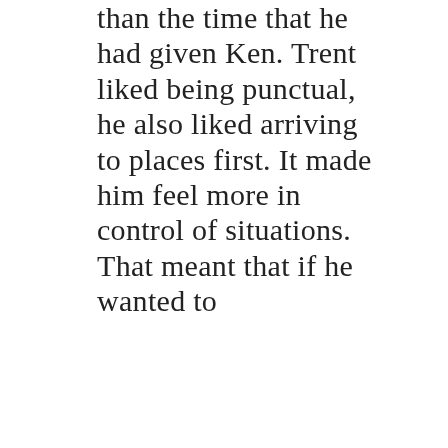than the time that he had given Ken. Trent liked being punctual, he also liked arriving to places first. It made him feel more in control of situations. That meant that if he wanted to